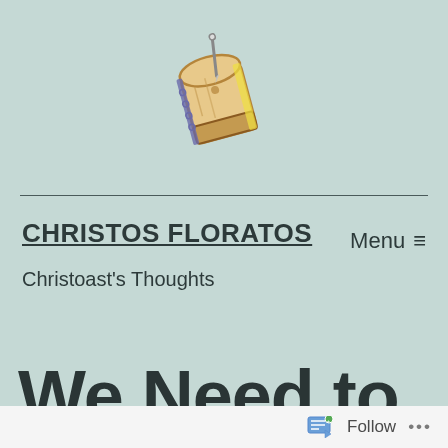[Figure (logo): Toast with a pen/pencil stuck in it, illustrated logo for Christoast's Thoughts blog]
CHRISTOS FLORATOS
Christoast's Thoughts
Menu ≡
We Need to
Follow ...